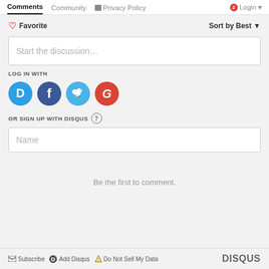Comments  Community  Privacy Policy  Login
♡ Favorite   Sort by Best ▾
Start the discussion…
LOG IN WITH
[Figure (logo): Social login icons: Disqus (blue circle D), Facebook (dark blue circle f), Twitter (light blue circle bird), Google (red circle G)]
OR SIGN UP WITH DISQUS ?
Name
Be the first to comment.
✉ Subscribe  D Add Disqus  ⚠ Do Not Sell My Data   DISQUS